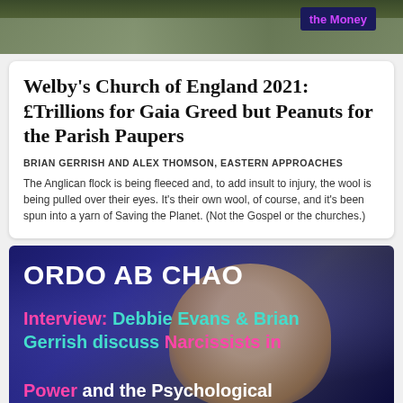[Figure (photo): Top image showing sheep in a field with a dark blue banner reading 'the Money' in purple text]
Welby's Church of England 2021: £Trillions for Gaia Greed but Peanuts for the Parish Paupers
BRIAN GERRISH AND ALEX THOMSON, EASTERN APPROACHES
The Anglican flock is being fleeced and, to add insult to injury, the wool is being pulled over their eyes. It's their own wool, of course, and it's been spun into a yarn of Saving the Planet. (Not the Gospel or the churches.)
[Figure (screenshot): Dark blue background image with swirling pattern and a man's face, overlaid with text 'ORDO AB CHAO' in white bold and 'Interview: Debbie Evans & Brian Gerrish discuss Narcissists in Power and the Psychological']